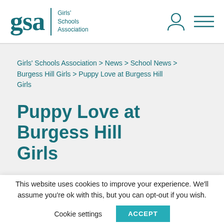gsa Girls' Schools Association
Girls' Schools Association > News > School News > Burgess Hill Girls > Puppy Love at Burgess Hill Girls
Puppy Love at Burgess Hill Girls
This website uses cookies to improve your experience. We'll assume you're ok with this, but you can opt-out if you wish. Cookie settings ACCEPT